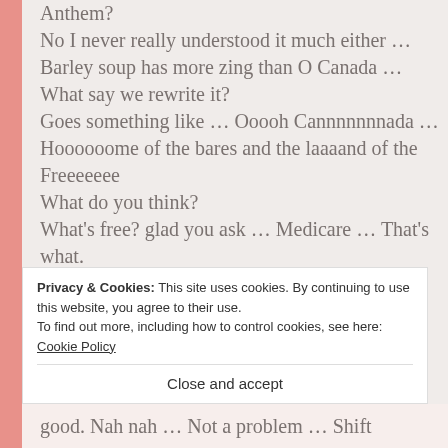Anthem?
No I never really understood it much either … Barley soup has more zing than O Canada … What say we rewrite it?
Goes something like … Ooooh Cannnnnnnada …
Hoooooome of the bares and the laaaand of the Freeeeeee
What do you think?
What's free? glad you ask … Medicare … That's what.
Privacy & Cookies: This site uses cookies. By continuing to use this website, you agree to their use.
To find out more, including how to control cookies, see here: Cookie Policy
Close and accept
good. Nah nah … Not a problem … Shift